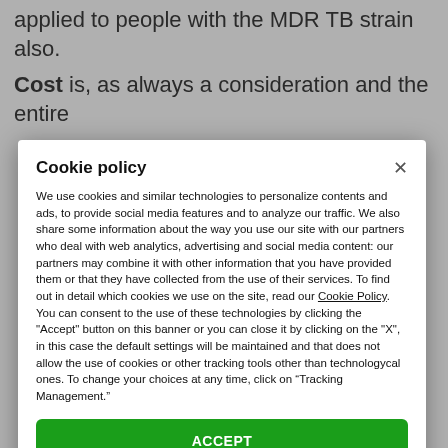applied to people with the MDR TB strain also.
Cost is, as always a consideration and the entire
Cookie policy
We use cookies and similar technologies to personalize contents and ads, to provide social media features and to analyze our traffic. We also share some information about the way you use our site with our partners who deal with web analytics, advertising and social media content: our partners may combine it with other information that you have provided them or that they have collected from the use of their services. To find out in detail which cookies we use on the site, read our Cookie Policy. You can consent to the use of these technologies by clicking the "Accept" button on this banner or you can close it by clicking on the "X", in this case the default settings will be maintained and that does not allow the use of cookies or other tracking tools other than technologycal ones. To change your choices at any time, click on “Tracking Management.”
ACCEPT
TRACKERS MANAGEMENT
Show vendors | Show purposes